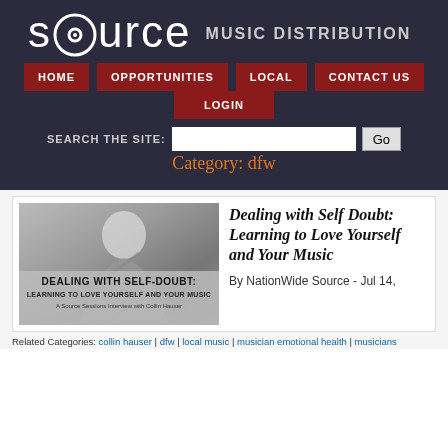[Figure (logo): Source Music Distribution logo with lowercase stylized text and 'MUSIC DISTRIBUTION' subtitle]
HOME
OPPORTUNITIES
LOCAL
CONTACT US
LOGIN
SEARCH THE SITE:
Category: dfw
[Figure (photo): Black and white photo of a young man smiling, playing guitar outdoors. Overlay text reads: DEALING WITH SELF-DOUBT: LEARNING TO LOVE YOURSELF AND YOUR MUSIC - A Source Sessions Interview with Collin Hauser]
Dealing with Self Doubt: Learning to Love Yourself and Your Music
By NationWide Source - Jul 14,
Related Categories: collin hauser | dfw | local music | musician emotional health | musicians